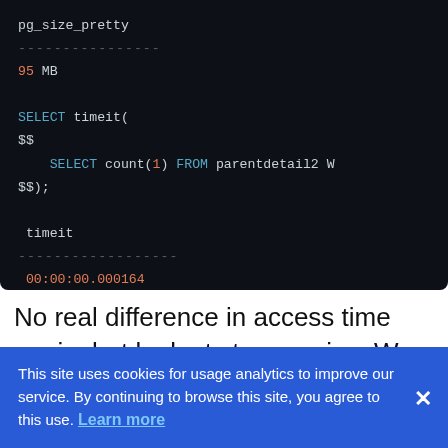[Figure (screenshot): Dark-themed SQL code terminal output showing pg_size_pretty result of 95 MB, followed by SELECT timeit($$  SELECT count(1) FROM parentdetail2 W $$); query, and timeit result of 00:00:00.000164]
No real difference in access time again, but look at storage size. We are now down to
This site uses cookies for usage analytics to improve our service. By continuing to browse this site, you agree to this use. Learn more